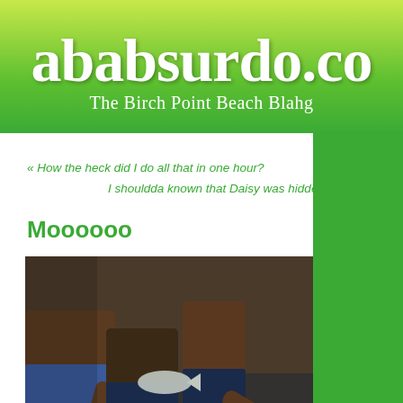ababsurdo.co — The Birch Point Beach Blahg
« How the heck did I do all that in one hour?
I shouldda known that Daisy was hidden »
Moooooo
[Figure (photo): A young blonde toddler standing in shallow water surrounded by the legs of several adults in swimwear, viewed from behind.]